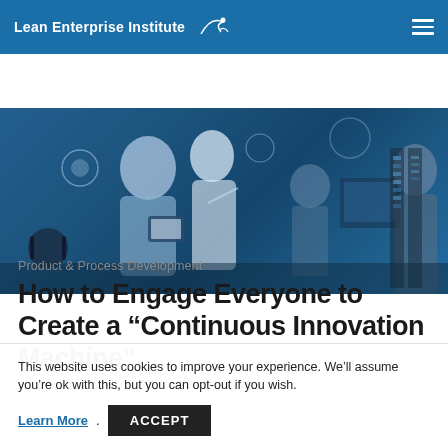Lean Enterprise Institute
[Figure (photo): Hero image of professionals in a technology lab or control room, with a blue tint overlay. Two people in the foreground discussing while looking at a tablet; others visible in the background at computer workstations.]
Product & Process Development
How to Engage Everyone to Create a “Continuous Innovation Machine”
This website uses cookies to improve your experience. We’ll assume you’re ok with this, but you can opt-out if you wish.
Learn More. ACCEPT